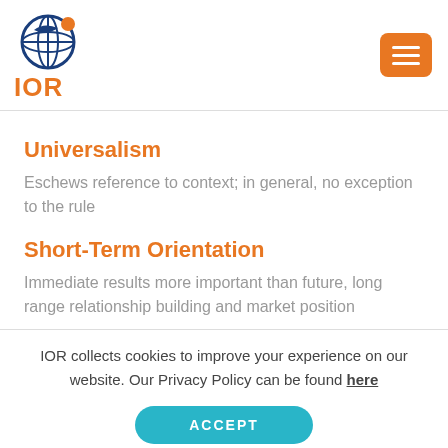IOR
Universalism
Eschews reference to context; in general, no exception to the rule
Short-Term Orientation
Immediate results more important than future, long range relationship building and market position
IOR collects cookies to improve your experience on our website. Our Privacy Policy can be found here
ACCEPT